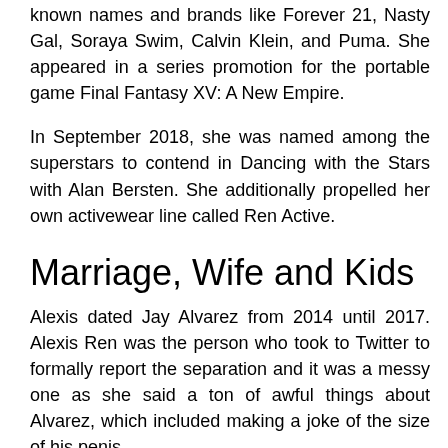known names and brands like Forever 21, Nasty Gal, Soraya Swim, Calvin Klein, and Puma. She appeared in a series promotion for the portable game Final Fantasy XV: A New Empire.
In September 2018, she was named among the superstars to contend in Dancing with the Stars with Alan Bersten. She additionally propelled her own activewear line called Ren Active.
Marriage, Wife and Kids
Alexis dated Jay Alvarez from 2014 until 2017. Alexis Ren was the person who took to Twitter to formally report the separation and it was a messy one as she said a ton of awful things about Alvarez, which included making a joke of the size of his penis.
In October 2019, it was announced that the